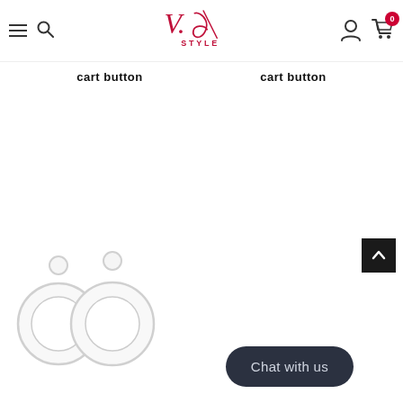V.eu STYLE — navigation header with hamburger menu, search, logo, user icon, and cart (0)
cart button
cart button
[Figure (photo): Two circular hoop earrings with a small circle accent on top, shown against white background]
Chat with us